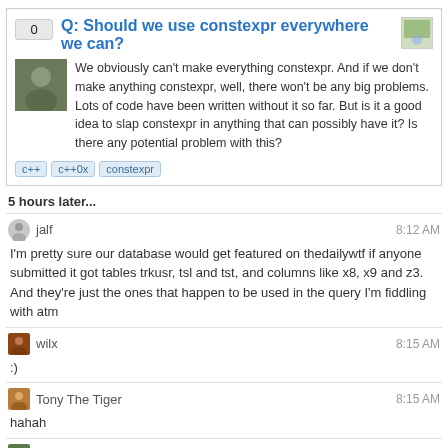Q: Should we use constexpr everywhere we can?
We obviously can't make everything constexpr. And if we don't make anything constexpr, well, there won't be any big problems. Lots of code have been written without it so far. But is it a good idea to slap constexpr in anything that can possibly have it? Is there any potential problem with this?
c++ | c++0x | constexpr
5 hours later...
jalf — 8:12 AM
I'm pretty sure our database would get featured on thedailywtf if anyone submitted it got tables trkusr, tsl and tst, and columns like x8, x9 and z3.
And they're just the ones that happen to be used in the query I'm fiddling with atm
wilx — 8:15 AM
:)
Tony The Tiger — 8:15 AM
hahah
sbi — 8:24 AM
@jalf Those column names smell like Excel to me.
Tony The Tiger — 8:25 AM
yea
StackedCrooked — 8:25 AM